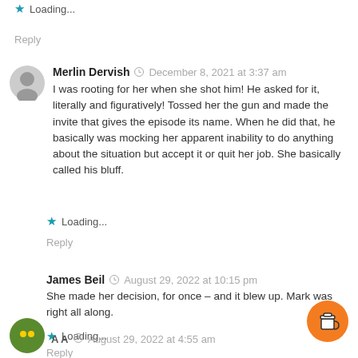Loading...
Reply
Merlin Dervish  December 8, 2021 at 3:37 am
I was rooting for her when she shot him! He asked for it, literally and figuratively! Tossed her the gun and made the invite that gives the episode its name. When he did that, he basically was mocking her apparent inability to do anything about the situation but accept it or quit her job. She basically called his bluff.
Loading...
Reply
James Beil  August 29, 2022 at 10:15 pm
She made her decision, for once – and it blew up. Mark was right all along.
Loading...
Reply
August 29, 2022 at 4:55 am